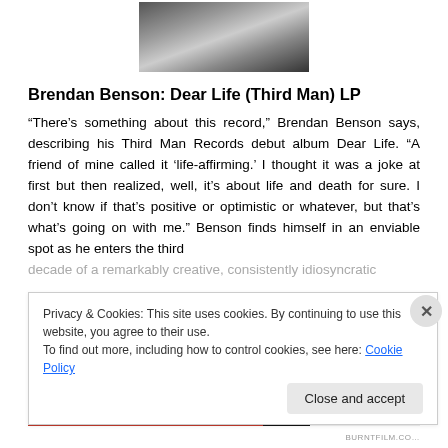[Figure (photo): Black and white photograph showing hands/fingers, cropped, at top center of page]
Brendan Benson: Dear Life (Third Man) LP
“There’s something about this record,” Brendan Benson says, describing his Third Man Records debut album Dear Life. “A friend of mine called it ‘life-affirming.’ I thought it was a joke at first but then realized, well, it’s about life and death for sure. I don’t know if that’s positive or optimistic or whatever, but that’s what’s going on with me.” Benson finds himself in an enviable spot as he enters the third
decade of a remarkably creative, consistently idiosyncratic
Privacy & Cookies: This site uses cookies. By continuing to use this website, you agree to their use.
To find out more, including how to control cookies, see here: Cookie Policy